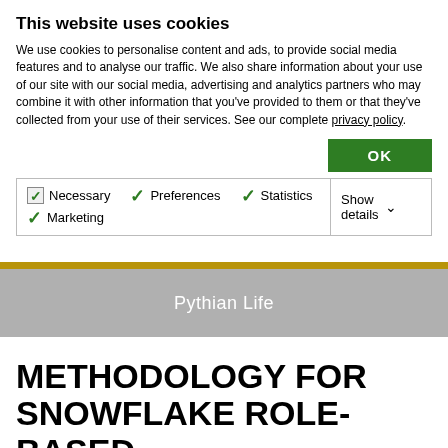This website uses cookies
We use cookies to personalise content and ads, to provide social media features and to analyse our traffic. We also share information about your use of our site with our social media, advertising and analytics partners who may combine it with other information that you've provided to them or that they've collected from your use of their services. See our complete privacy policy.
OK
| ✓ Necessary | ✓ Preferences | ✓ Statistics | Show details ∨ |
| ✓ Marketing |  |  |  |
Pythian Life
METHODOLOGY FOR SNOWFLAKE ROLE-BASED ACCESS CONTROL